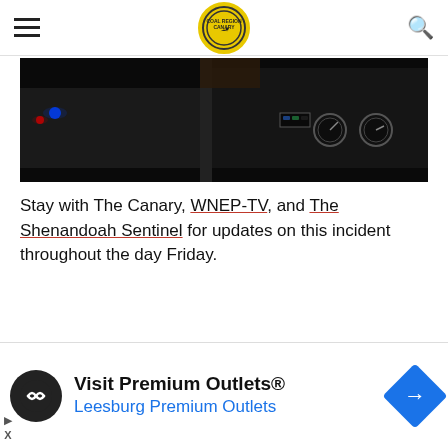Coal Region Canary — navigation header with hamburger menu, logo, and search icon
[Figure (photo): Dark nighttime photo of fire truck dashboard/equipment with gauges and blue/red lights visible]
Stay with The Canary, WNEP-TV, and The Shenandoah Sentinel for updates on this incident throughout the day Friday.
[Figure (photo): Firefighter in smoke-filled scene with orange/warm light glow, hazy atmosphere]
Visit Premium Outlets® Leesburg Premium Outlets — advertisement